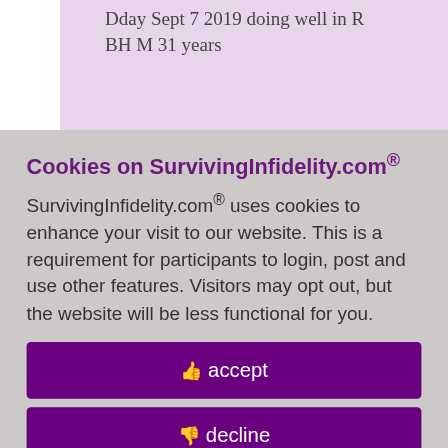Dday Sept 7 2019 doing well in R BH M 31 years
id 8702735
er 5th, 2021
- Elton John
unday, December
rce. Happily
Policy
Cookies on SurvivingInfidelity.com®
SurvivingInfidelity.com® uses cookies to enhance your visit to our website. This is a requirement for participants to login, post and use other features. Visitors may opt out, but the website will be less functional for you.
accept
decline
about cookies